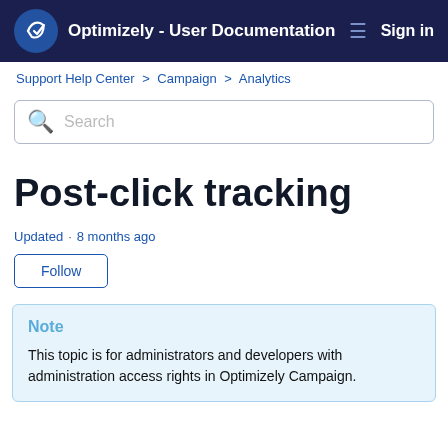Optimizely - User Documentation  Sign in
Support Help Center > Campaign > Analytics
Search
Post-click tracking
Updated · 8 months ago
Follow
Note
This topic is for administrators and developers with administration access rights in Optimizely Campaign.